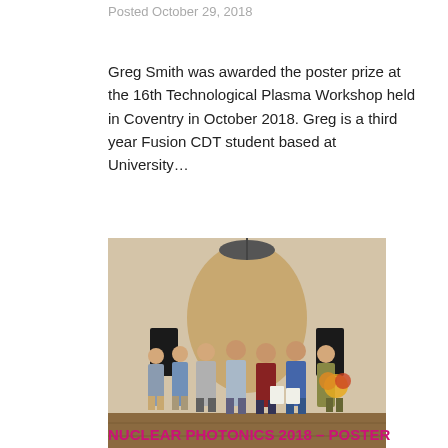Posted October 29, 2018
Greg Smith was awarded the poster prize at the 16th Technological Plasma Workshop held in Coventry in October 2018. Greg is a third year Fusion CDT student based at University…
[Figure (photo): Group photo of several people standing on a stage in a decorated room, some holding papers and flowers, taken at the 16th Technological Plasma Workshop award ceremony.]
NUCLEAR PHOTONICS 2018 – POSTER